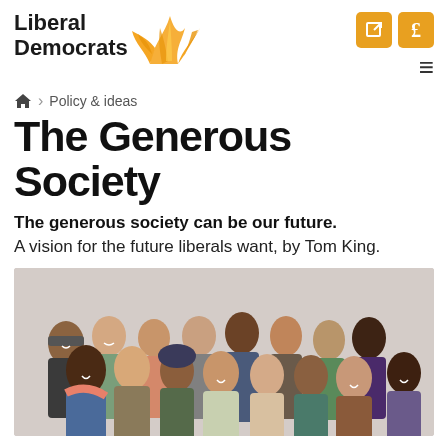[Figure (logo): Liberal Democrats logo with golden bird/flame emblem and text 'Liberal Democrats']
🏠 > Policy & ideas
The Generous Society
The generous society can be our future.
A vision for the future liberals want, by Tom King.
[Figure (photo): Diverse group of smiling people standing together against a light grey background]